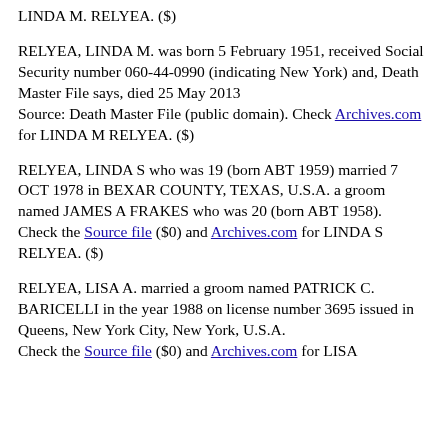LINDA M. RELYEA. ($)
RELYEA, LINDA M. was born 5 February 1951, received Social Security number 060-44-0990 (indicating New York) and, Death Master File says, died 25 May 2013
Source: Death Master File (public domain). Check Archives.com for LINDA M RELYEA. ($)
RELYEA, LINDA S who was 19 (born ABT 1959) married 7 OCT 1978 in BEXAR COUNTY, TEXAS, U.S.A. a groom named JAMES A FRAKES who was 20 (born ABT 1958).
Check the Source file ($0) and Archives.com for LINDA S RELYEA. ($)
RELYEA, LISA A. married a groom named PATRICK C. BARICELLI in the year 1988 on license number 3695 issued in Queens, New York City, New York, U.S.A.
Check the Source file ($0) and Archives.com for LISA